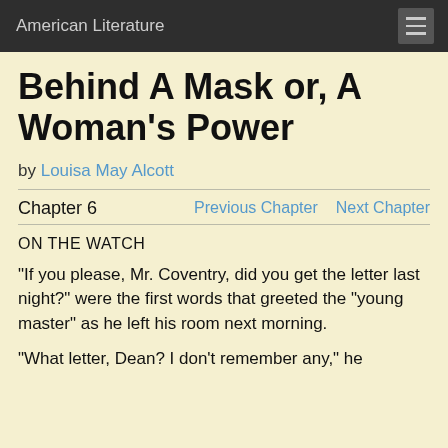American Literature
Behind A Mask or, A Woman's Power
by Louisa May Alcott
Chapter 6    Previous Chapter    Next Chapter
ON THE WATCH
"If you please, Mr. Coventry, did you get the letter last night?" were the first words that greeted the "young master" as he left his room next morning.
"What letter, Dean? I don't remember any," he